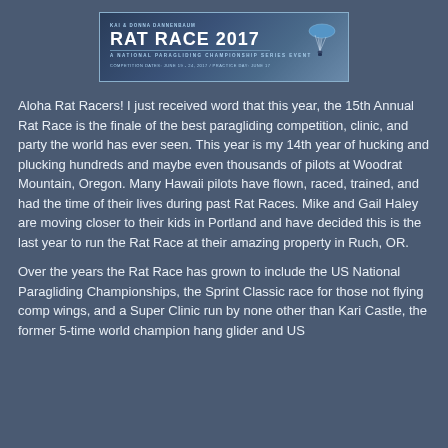[Figure (logo): Rat Race 2017 banner - A National Paragliding Championship Series Event. Competition dates: June 19-24, 2017 / Practice Day: June 17. Blue gradient background with paraglider silhouette.]
Aloha Rat Racers! I just received word that this year, the 15th Annual Rat Race is the finale of the best paragliding competition, clinic, and party the world has ever seen. This year is my 14th year of hucking and plucking hundreds and maybe even thousands of pilots at Woodrat Mountain, Oregon. Many Hawaii pilots have flown, raced, trained, and had the time of their lives during past Rat Races. Mike and Gail Haley are moving closer to their kids in Portland and have decided this is the last year to run the Rat Race at their amazing property in Ruch, OR.
Over the years the Rat Race has grown to include the US National Paragliding Championships, the Sprint Classic race for those not flying comp wings, and a Super Clinic run by none other than Kari Castle, the former 5-time world champion hang glider and US...